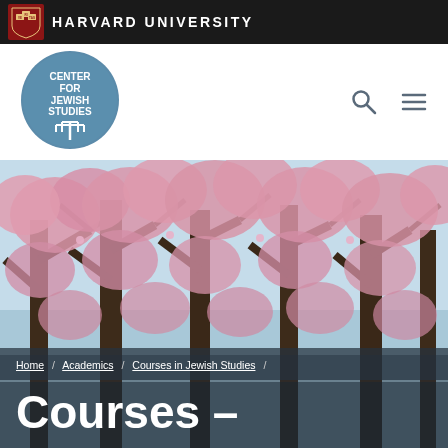HARVARD UNIVERSITY
[Figure (logo): Center for Jewish Studies circular logo with menorah symbol in blue/white]
[Figure (photo): Cherry blossom trees in bloom with pink flowers against blue sky]
Home / Academics / Courses in Jewish Studies /
Courses –